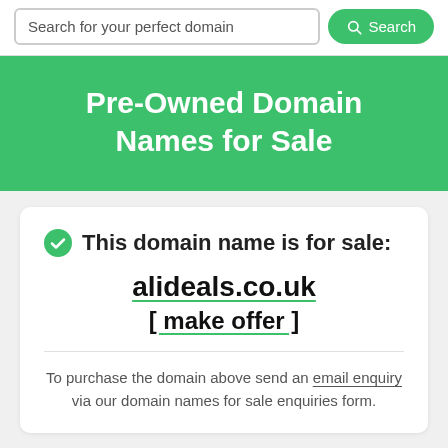[Figure (screenshot): Search bar with placeholder text 'Search for your perfect domain' and a green Search button with magnifying glass icon]
Pre-Owned Domain Names for Sale
This domain name is for sale:
alideals.co.uk
[ make offer ]
To purchase the domain above send an email enquiry via our domain names for sale enquiries form.